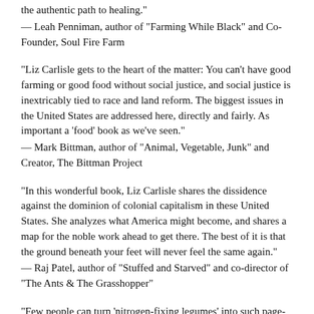the authentic path to healing."
— Leah Penniman, author of "Farming While Black" and Co-Founder, Soul Fire Farm
"Liz Carlisle gets to the heart of the matter: You can't have good farming or good food without social justice, and social justice is inextricably tied to race and land reform. The biggest issues in the United States are addressed here, directly and fairly. As important a 'food' book as we've seen."
— Mark Bittman, author of "Animal, Vegetable, Junk" and Creator, The Bittman Project
"In this wonderful book, Liz Carlisle shares the dissidence against the dominion of colonial capitalism in these United States. She analyzes what America might become, and shares a map for the noble work ahead to get there. The best of it is that the ground beneath your feet will never feel the same again."
— Raj Patel, author of "Stuffed and Starved" and co-director of "The Ants & The Grasshopper"
"Few people can turn 'nitrogen-fixing legumes' into such page-turning prose like Liz Carlisle can. In Healing Grounds, she turns